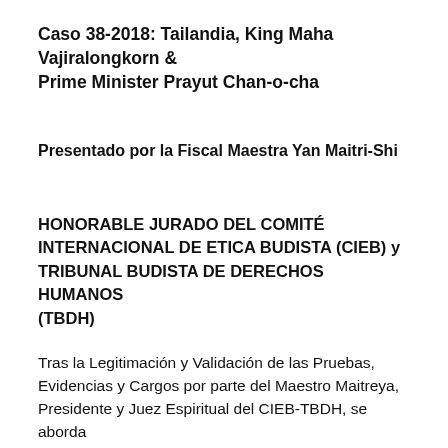Caso 38-2018: Tailandia, King Maha Vajiralongkorn & Prime Minister Prayut Chan-o-cha
Presentado por la Fiscal Maestra Yan Maitri-Shi
HONORABLE JURADO DEL COMITÉ INTERNACIONAL DE ETICA BUDISTA (CIEB) y TRIBUNAL BUDISTA DE DERECHOS HUMANOS (TBDH)
Tras la Legitimación y Validación de las Pruebas, Evidencias y Cargos por parte del Maestro Maitreya, Presidente y Juez Espiritual del CIEB-TBDH, se aborda